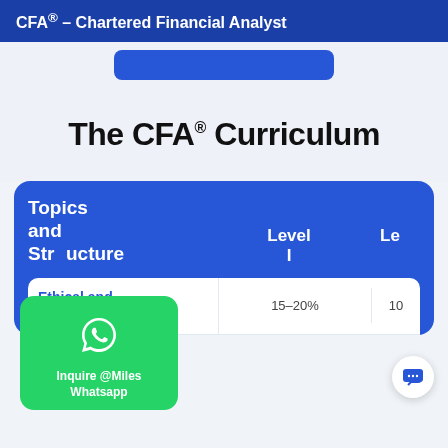CFA® – Chartered Financial Analyst
The CFA® Curriculum
| Topics and Structure | Level I | Le... |
| --- | --- | --- |
| Ethical and Professional... | 15–20% | 10... |